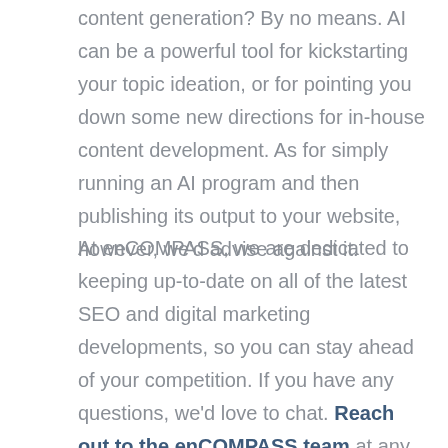content generation? By no means. AI can be a powerful tool for kickstarting your topic ideation, or for pointing you down some new directions for in-house content development. As for simply running an AI program and then publishing its output to your website, however, we'd advise against it.
At enCOMPASS, we are dedicated to keeping up-to-date on all of the latest SEO and digital marketing developments, so you can stay ahead of your competition. If you have any questions, we'd love to chat. Reach out to the enCOMPASS team at any time.